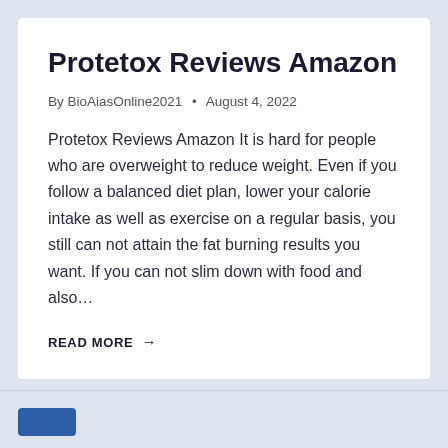Protetox Reviews Amazon
By BioAiasOnline2021 • August 4, 2022
Protetox Reviews Amazon It is hard for people who are overweight to reduce weight. Even if you follow a balanced diet plan, lower your calorie intake as well as exercise on a regular basis, you still can not attain the fat burning results you want. If you can not slim down with food and also…
READ MORE →